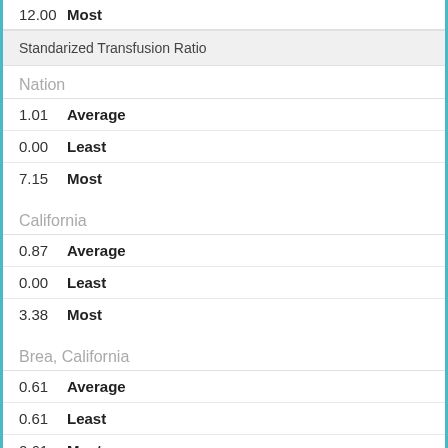| Value | Stat |
| --- | --- |
| 12.00 | Most |
Standarized Transfusion Ratio
| Value | Stat |
| --- | --- |
| 1.01 | Average |
| 0.00 | Least |
| 7.15 | Most |
| Value | Stat |
| --- | --- |
| 0.87 | Average |
| 0.00 | Least |
| 3.38 | Most |
| Value | Stat |
| --- | --- |
| 0.61 | Average |
| 0.61 | Least |
| 0.61 | Most |